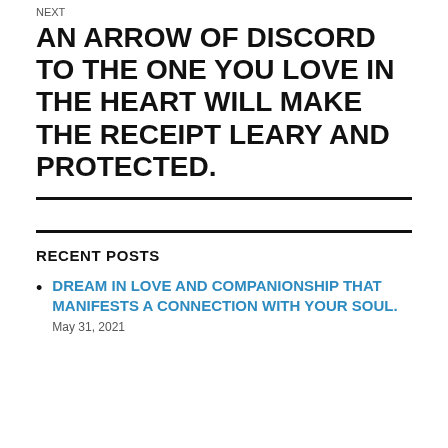NEXT
AN ARROW OF DISCORD TO THE ONE YOU LOVE IN THE HEART WILL MAKE THE RECEIPT LEARY AND PROTECTED.
RECENT POSTS
DREAM IN LOVE AND COMPANIONSHIP THAT MANIFESTS A CONNECTION WITH YOUR SOUL.
May 31, 2021